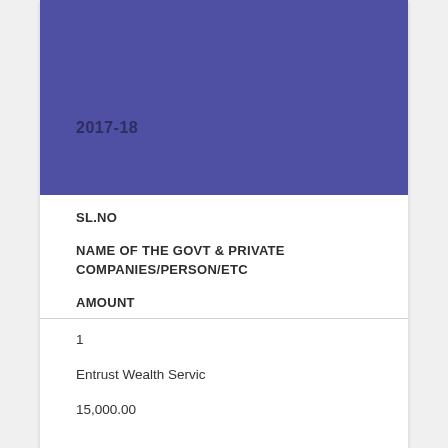[Figure (other): Blue/purple decorative header banner with year label 2017-18]
2017-18
| SL.NO | NAME OF THE GOVT & PRIVATE COMPANIES/PERSON/ETC | AMOUNT |
| --- | --- | --- |
| 1 | Entrust Wealth Servic | 15,000.00 |